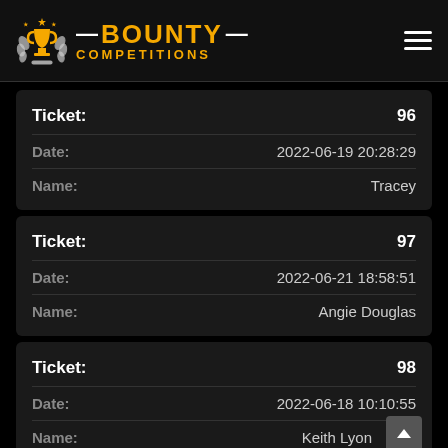BOUNTY COMPETITIONS
| Field | Value |
| --- | --- |
| Ticket: | 96 |
| Date: | 2022-06-19 20:28:29 |
| Name: | Tracey |
| Field | Value |
| --- | --- |
| Ticket: | 97 |
| Date: | 2022-06-21 18:58:51 |
| Name: | Angie Douglas |
| Field | Value |
| --- | --- |
| Ticket: | 98 |
| Date: | 2022-06-18 10:10:55 |
| Name: | Keith Lyon |